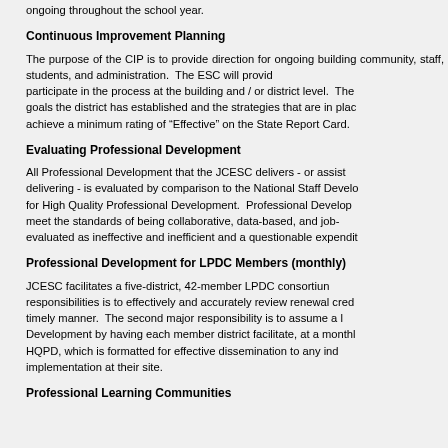ongoing throughout the school year.
Continuous Improvement Planning
The purpose of the CIP is to provide direction for ongoing building community, staff, students, and administration.  The ESC will provide participate in the process at the building and / or district level.  The goals the district has established and the strategies that are in place achieve a minimum rating of "Effective" on the State Report Card.
Evaluating Professional Development
All Professional Development that the JCESC delivers - or assists delivering - is evaluated by comparison to the National Staff Develo for High Quality Professional Development.  Professional Develop meet the standards of being collaborative, data-based, and job- evaluated as ineffective and inefficient and a questionable expenditu
Professional Development for LPDC Members (monthly)
JCESC facilitates a five-district, 42-member LPDC consortiun responsibilities is to effectively and accurately review renewal crede timely manner.  The second major responsibility is to assume a l Development by having each member district facilitate, at a monthly HQPD, which is formatted for effective dissemination to any ind implementation at their site.
Professional Learning Communities